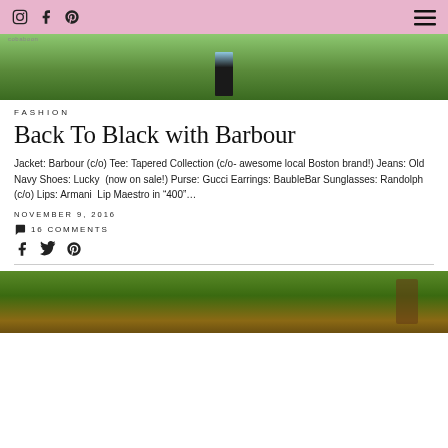Instagram Facebook Pinterest [menu]
[Figure (photo): Outdoor photo showing a person standing in a green grassy field, wearing dark jeans and light top, partial view]
FASHION
Back To Black with Barbour
Jacket: Barbour (c/o) Tee: Tapered Collection (c/o- awesome local Boston brand!) Jeans: Old Navy Shoes: Lucky  (now on sale!) Purse: Gucci Earrings: BaubleBar Sunglasses: Randolph (c/o) Lips: Armani  Lip Maestro in “400”…
NOVEMBER 9, 2016
16 COMMENTS
Social share icons: facebook, twitter, pinterest
[Figure (photo): Bottom outdoor photo showing green foliage and trees with warm tones, partial view]